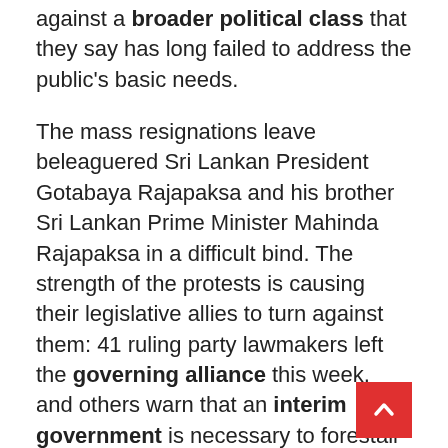against a broader political class that they say has long failed to address the public's basic needs.
The mass resignations leave beleaguered Sri Lankan President Gotabaya Rajapaksa and his brother Sri Lankan Prime Minister Mahinda Rajapaksa in a difficult bind. The strength of the protests is causing their legislative allies to turn against them: 41 ruling party lawmakers left the governing alliance this week, and others warn that an interim government is necessary to forestall political violence.
But a top opposition party has rejected any possible interim government, instead demanding that the president resign. On Wednesday, a government minister insisted he won't step down. Sri Lanka's growing political crisis could distract policymakers and fu… constrain efforts to address economic stress—causing